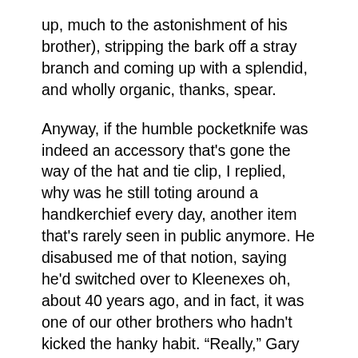up, much to the astonishment of his brother), stripping the bark off a stray branch and coming up with a splendid, and wholly organic, thanks, spear.

Anyway, if the humble pocketknife was indeed an accessory that's gone the way of the hat and tie clip, I replied, why was he still toting around a handkerchief every day, another item that's rarely seen in public anymore. He disabused me of that notion, saying he'd switched over to Kleenexes oh, about 40 years ago, and in fact, it was one of our other brothers who hadn't kicked the hanky habit. “Really,” Gary said, “handkerchiefs, if not just for show, get so filthy they ought to be cited as a public health violation.” Could be, and don’t be surprised if New York mayor Michael Bloomberg bans handkerchiefs—once he’s finished buying a third term this fall—as part of his continuing campaign to intrude upon the private lives of his constituents.